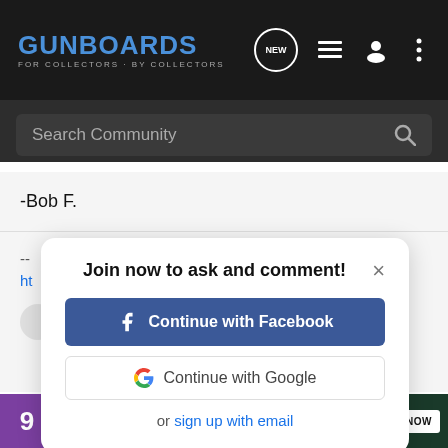[Figure (screenshot): Gunboards website navigation bar with logo, NEW bubble, list icon, user icon, and menu icon on dark background]
[Figure (screenshot): Search Community search bar on dark background]
-Bob F.
[Figure (screenshot): Modal dialog: Join now to ask and comment! with Continue with Facebook button, Continue with Google button, and sign up with email link]
[Figure (screenshot): Bottom bar with purple 9 box and Bass Pro Shops Reloading Supplies ad banner with SHOP NOW button]